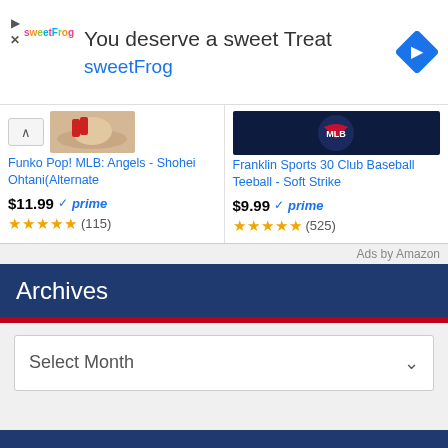[Figure (advertisement): sweetFrog advertisement banner with logo, headline 'You deserve a sweet Treat', brand name 'sweetFrog', and a blue navigation diamond icon]
Funko Pop! MLB: Angels - Shohei Ohtani(Alternate
$11.99 ✓prime ★★★★★ (115)
Franklin Sports 30 Club Baseball Teeball - Soft Strike
$9.99 ✓prime ★★★★★ (525)
Ads by Amazon
Archives
Select Month